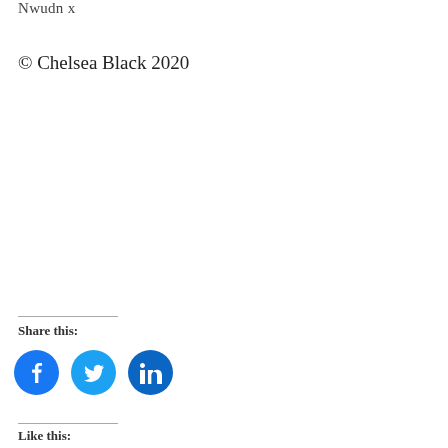Nwudn x
© Chelsea Black 2020
Share this:
[Figure (other): Social share icons: Facebook (blue circle), Twitter (light blue circle), LinkedIn (dark blue circle)]
Like this: